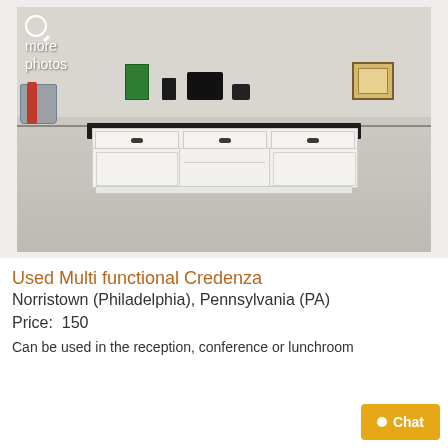[Figure (photo): A white multi-functional credenza with dark top surface, three drawers with black drawer pulls on top, two cabinet doors on sides, and open shelving in the middle. Office items including a green-framed poster, telephone, camera, and framed certificate are on top. Located in an office environment with light tile flooring.]
Used Multi functional Credenza
Norristown (Philadelphia), Pennsylvania (PA)
Price:  150
Can be used in the reception, conference or lunchroom